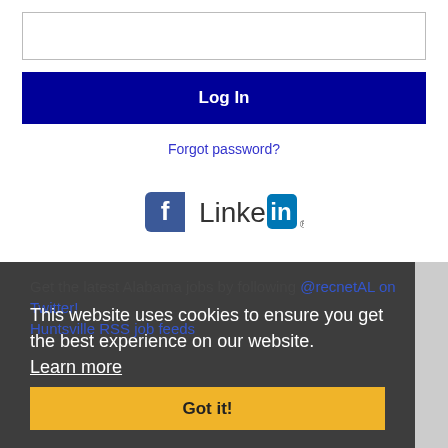[Figure (screenshot): Password input field, empty, with thin gray border]
[Figure (screenshot): Dark navy blue Log In button with white bold text]
Forgot password?
[Figure (logo): Facebook 'f' logo icon and LinkedIn logo with registered trademark symbol]
Get the latest Alabama jobs by following @recnetAL on Twitter!
Huntsville RSS job feeds
This website uses cookies to ensure you get the best experience on our website. Learn more
[Figure (screenshot): Yellow 'Got it!' button]